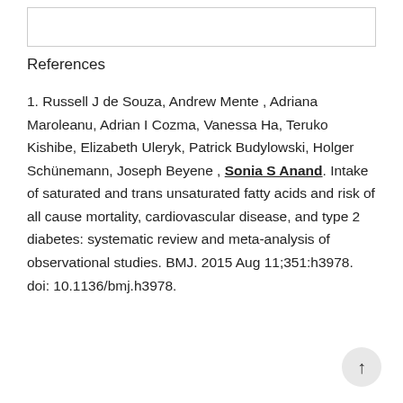References
1. Russell J de Souza, Andrew Mente , Adriana Maroleanu, Adrian I Cozma, Vanessa Ha, Teruko Kishibe, Elizabeth Uleryk, Patrick Budylowski, Holger Schünemann, Joseph Beyene , Sonia S Anand. Intake of saturated and trans unsaturated fatty acids and risk of all cause mortality, cardiovascular disease, and type 2 diabetes: systematic review and meta-analysis of observational studies. BMJ. 2015 Aug 11;351:h3978. doi: 10.1136/bmj.h3978.